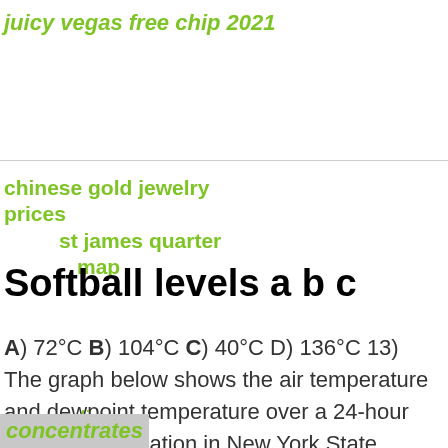juicy vegas free chip 2021
chinese gold jewelry prices    st james quarter map
Softball levels a b c
A) 72°C B) 104°C C) 40°C D) 136°C 13) The graph below shows the air temperature and dewpoint temperature over a 24-hour period for a location in New York State. When was the
sending
concentrates